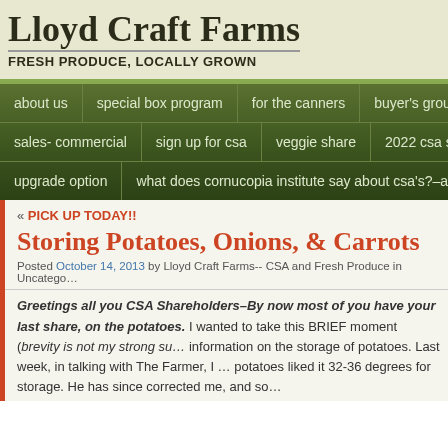Lloyd Craft Farms
FRESH PRODUCE, LOCALLY GROWN
about us | special box program | for the canners | buyer's group | pa...
sales- commercial | sign up for csa | veggie share | 2022 csa share price...
upgrade option | what does cornucopia institute say about csa's?–april 10th, 20...
« PICK UP TODAY!!
Storing Potatoes, Onions, & Carrots
Posted October 14, 2013 by Lloyd Craft Farms-- CSA and Fresh Produce in Uncatego...
Greetings all you CSA Shareholders–By now most of you have your last share, on the potatoes. I wanted to take this BRIEF moment (brevity is not my strong su... information on the storage of potatoes. Last week, in talking with The Farmer, I ... potatoes liked it 32-36 degrees for storage. He has since corrected me, and so...